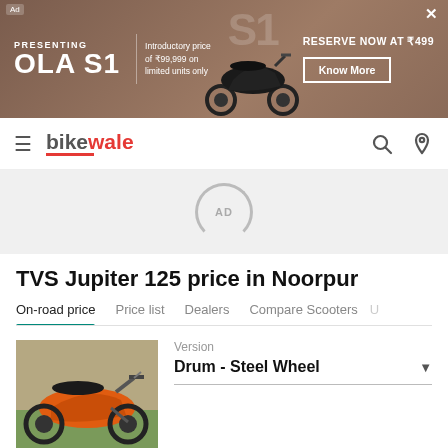[Figure (screenshot): Ola S1 advertisement banner with text 'PRESENTING OLA S1', introductory price of ₹99,999 on limited units only, scooter image, and 'RESERVE NOW AT ₹499' with Know More button]
BikeWale navigation bar with hamburger menu, BikeWale logo, search and location icons
[Figure (other): AD placeholder loading spinner circle with 'AD' text]
TVS Jupiter 125 price in Noorpur
On-road price | Price list | Dealers | Compare Scooters | U
[Figure (photo): Orange TVS Jupiter 125 scooter parked on grass]
Version
Drum - Steel Wheel
TVS Jupiter 125 on road price in Noorpur
Ex-showroom  ₹ 81,125